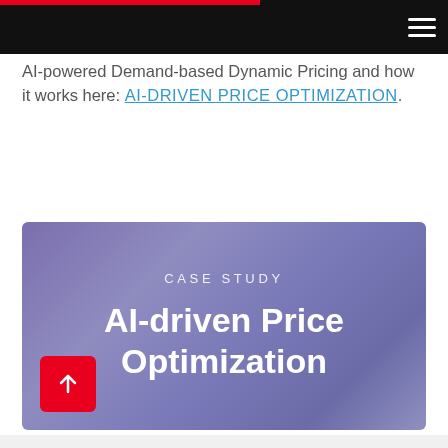AI-powered Demand-based Dynamic Pricing and how it works here: AI-DRIVEN PRICE OPTIMIZATION.
[Figure (illustration): Card with blurred purple gradient background showing 'CASE STUDY' label above 'AI-driven Price Optimization' title, with a red upload/arrow button in the bottom-left corner.]
CASE STUDY — AI-driven Price Optimization